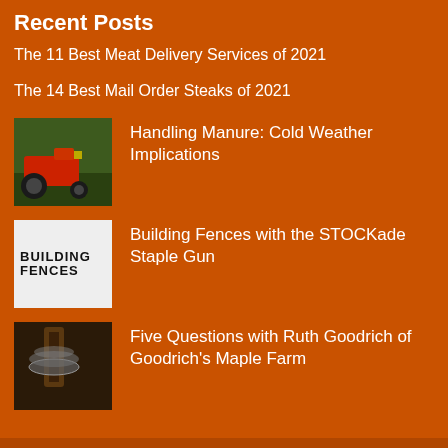Recent Posts
The 11 Best Meat Delivery Services of 2021
The 14 Best Mail Order Steaks of 2021
Handling Manure: Cold Weather Implications
Building Fences with the STOCKade Staple Gun
Five Questions with Ruth Goodrich of Goodrich's Maple Farm